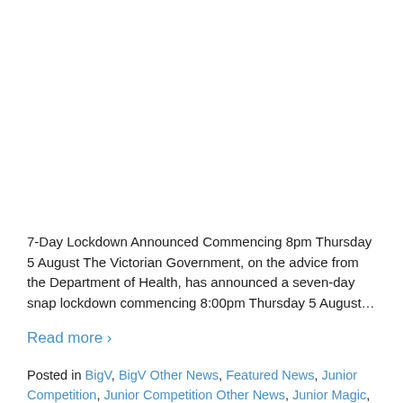7-Day Lockdown Announced Commencing 8pm Thursday 5 August The Victorian Government, on the advice from the Department of Health, has announced a seven-day snap lockdown commencing 8:00pm Thursday 5 August…
Read more ›
Posted in BigV, BigV Other News, Featured News, Junior Competition, Junior Competition Other News, Junior Magic, Junior Magic Other News, Referees, Senior Competition